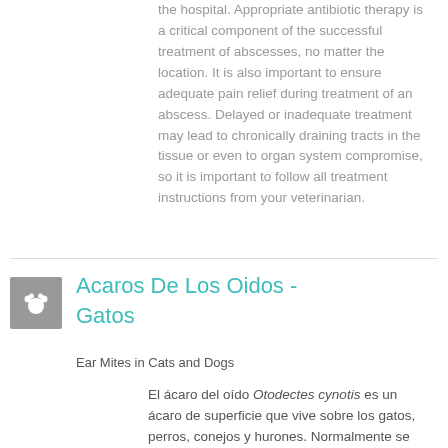the hospital. Appropriate antibiotic therapy is a critical component of the successful treatment of abscesses, no matter the location. It is also important to ensure adequate pain relief during treatment of an abscess. Delayed or inadequate treatment may lead to chronically draining tracts in the tissue or even to organ system compromise, so it is important to follow all treatment instructions from your veterinarian.
Acaros De Los Oidos - Gatos
Ear Mites in Cats and Dogs
El ácaro del oído Otodectes cynotis es un ácaro de superficie que vive sobre los gatos, perros, conejos y hurones. Normalmente se encuentra en el canal auditivo, pero también puede vivir en otras superficies de la piel. Todo el ciclo vital del ácaro tiene lugar en el animal